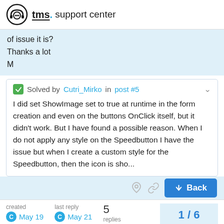tms. support center
of issue it is?
Thanks a lot
M
Solved by Cutri_Mirko in post #5
I did set ShowImage set to true at runtime in the form creation and even on the buttons OnClick itself, but it didn't work. But I have found a possible reason. When I do not apply any style on the Speedbutton I have the issue but when I create a custom style for the Speedbutton, then the icon is sho...
created May 19   last reply May 21   5 replies   1 / 6